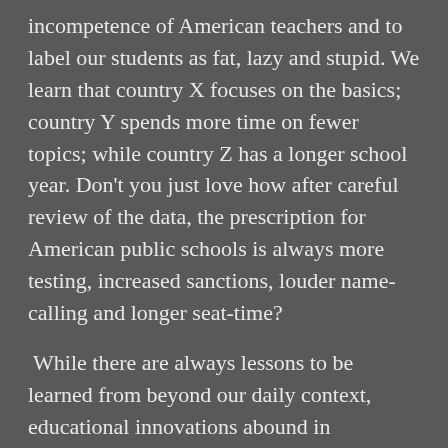incompetence of American teachers and to label our students as fat, lazy and stupid. We learn that country X focuses on the basics; country Y spends more time on fewer topics; while country Z has a longer school year. Don't you just love how after careful review of the data, the prescription for American public schools is always more testing, increased sanctions, louder name-calling and longer seat-time?
While there are always lessons to be learned from beyond our daily context, educational innovations abound in classrooms across America. Yet we ignore them. The cynical political forces that scare the populace with annual Sputnik hysteria play upon an unhealthy fear of foreigners and a neurotic national